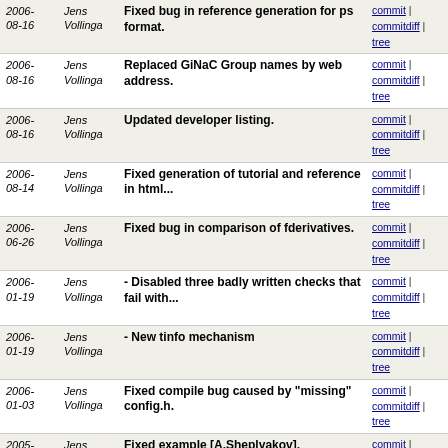| Date | Author | Message | Links |
| --- | --- | --- | --- |
| 2006-08-16 | Jens Vollinga | Fixed bug in reference generation for ps format. | commit | commitdiff | tree |
| 2006-08-16 | Jens Vollinga | Replaced GiNaC Group names by web address. | commit | commitdiff | tree |
| 2006-08-16 | Jens Vollinga | Updated developer listing. | commit | commitdiff | tree |
| 2006-08-14 | Jens Vollinga | Fixed generation of tutorial and reference in html... | commit | commitdiff | tree |
| 2006-06-26 | Jens Vollinga | Fixed bug in comparison of fderivatives. | commit | commitdiff | tree |
| 2006-01-19 | Jens Vollinga | - Disabled three badly written checks that fail with... | commit | commitdiff | tree |
| 2006-01-19 | Jens Vollinga | - New tinfo mechanism | commit | commitdiff | tree |
| 2006-01-03 | Jens Vollinga | Fixed compile bug caused by "missing" config.h. | commit | commitdiff | tree |
| 2005-12-25 | Jens Vollinga | Fixed example [A.Sheplyakov]. | commit | commitdiff | tree |
| 2005-12-07 | Jens Vollinga | Added compile function. | commit | commitdiff | tree |
| 2005-12-06 | Jens Vollinga | New directory for GiNaC examples. | commit | commitdiff | tree |
| 2005-11-10 | Jens Vollinga | Added callback mechanism to watch changes to 'Digits... | commit | commitdiff | tree |
| 2005-11-09 | Jens Vollinga | Fixed wrong matching in .has() | commit | commitdiff | tree |